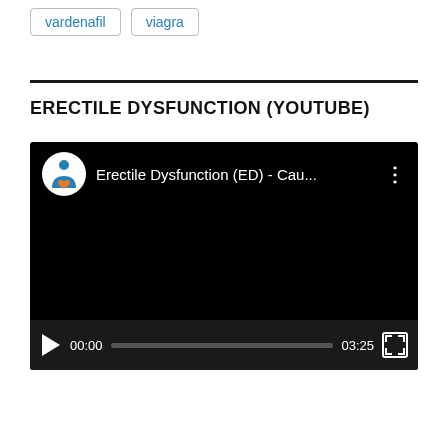vardenafil
viagra
ERECTILE DYSFUNCTION (YOUTUBE)
[Figure (screenshot): YouTube video player showing 'Erectile Dysfunction (ED) - Cau...' with a channel logo (blue figure with orange heart), paused at 00:00, total duration 03:25, with play button and seek bar visible in dark controls bar.]